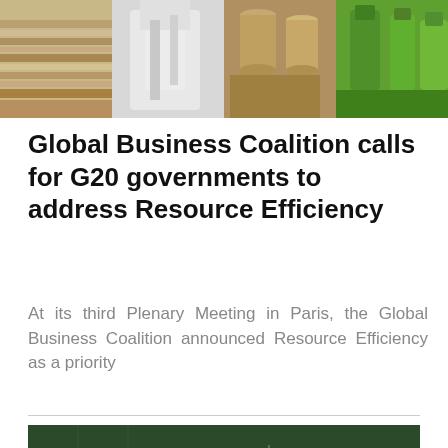[Figure (photo): Strip of four photos showing various materials: stacked books/papers, a white coat/fabric, tin cans, and green bottles/containers]
Global Business Coalition calls for G20 governments to address Resource Efficiency
At its third Plenary Meeting in Paris, the Global Business Coalition announced Resource Efficiency as a priority
[Figure (photo): Man standing in front of a futuristic digital city overlay, with green tinted cityscape and data visualization graphics]